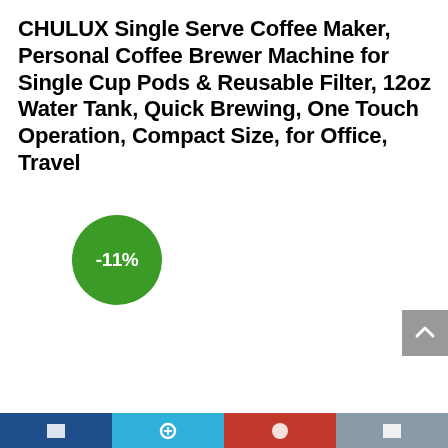CHULUX Single Serve Coffee Maker, Personal Coffee Brewer Machine for Single Cup Pods & Reusable Filter, 12oz Water Tank, Quick Brewing, One Touch Operation, Compact Size, for Office, Travel
[Figure (other): Green circular discount badge showing -11%]
[Figure (other): Gray scroll-to-top button with upward chevron arrow]
[Figure (other): Bottom navigation bar with four colored segments (dark blue, light blue, red, gray) each containing a white icon]